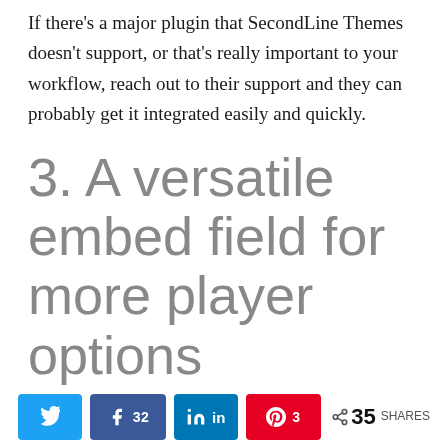If there's a major plugin that SecondLine Themes doesn't support, or that's really important to your workflow, reach out to their support and they can probably get it integrated easily and quickly.
3. A versatile embed field for more player options
Maybe you don't want to use a WordPress plugin to put a player on your website and would rather use one
[Figure (infographic): Social share bar with Twitter, Facebook (32), LinkedIn, Pinterest (3) buttons and total 35 SHARES count]